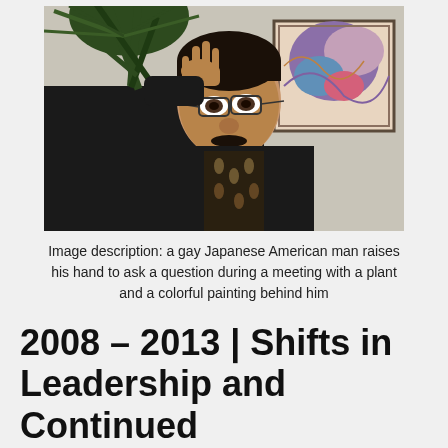[Figure (photo): A gay Japanese American man raises his hand to ask a question during a meeting, with a plant and a colorful painting behind him.]
Image description: a gay Japanese American man raises his hand to ask a question during a meeting with a plant and a colorful painting behind him
2008 – 2013 | Shifts in Leadership and Continued